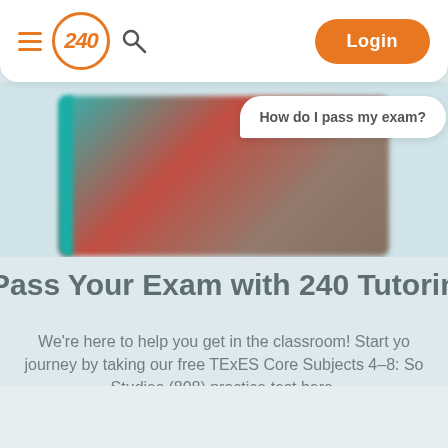[Figure (screenshot): Navigation bar with hamburger menu, 240 Tutoring logo in orange circle, search icon, and orange Login button]
[Figure (photo): Blurred hero image of a person in a red shirt, with a white chat bubble overlay reading 'How do I pass my exam?']
How do I pass my exam?
Pass Your Exam with 240 Tutoring!
We're here to help you get in the classroom! Start your journey by taking our free TExES Core Subjects 4–8: Social Studies (808) practice test here.